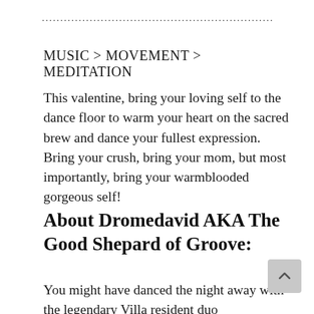..........................................................................................................
MUSIC > MOVEMENT > MEDITATION
This valentine, bring your loving self to the dance floor to warm your heart on the sacred brew and dance your fullest expression. Bring your crush, bring your mom, but most importantly, bring your warmblooded gorgeous self!
About Dromedavid AKA The Good Shepard of Groove:
You might have danced the night away with the legendary Villa resident duo...